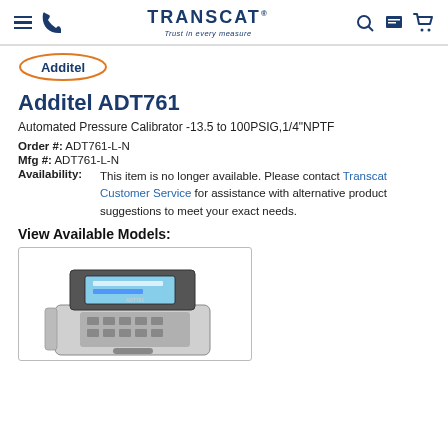TRANSCAT - Trust in every measure
[Figure (logo): Additel brand logo with orange oval border]
Additel ADT761
Automated Pressure Calibrator -13.5 to 100PSIG,1/4"NPTF
Order #: ADT761-L-N
Mfg #: ADT761-L-N
Availability: This item is no longer available. Please contact Transcat Customer Service for assistance with alternative product suggestions to meet your exact needs.
View Available Models:
[Figure (photo): Photo of Additel ADT761 automated pressure calibrator device — a portable box-style instrument with a digital display screen on top and a keypad, in a grey and black case with a carrying strap.]